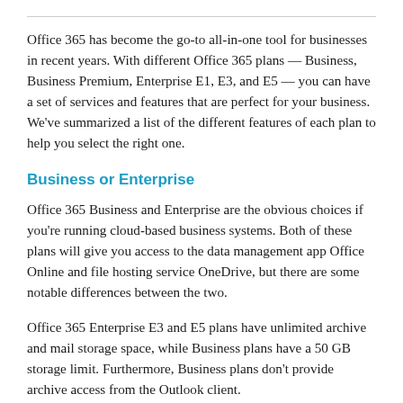Office 365 has become the go-to all-in-one tool for businesses in recent years. With different Office 365 plans — Business, Business Premium, Enterprise E1, E3, and E5 — you can have a set of services and features that are perfect for your business. We've summarized a list of the different features of each plan to help you select the right one.
Business or Enterprise
Office 365 Business and Enterprise are the obvious choices if you're running cloud-based business systems. Both of these plans will give you access to the data management app Office Online and file hosting service OneDrive, but there are some notable differences between the two.
Office 365 Enterprise E3 and E5 plans have unlimited archive and mail storage space, while Business plans have a 50 GB storage limit. Furthermore, Business plans don't provide archive access from the Outlook client.